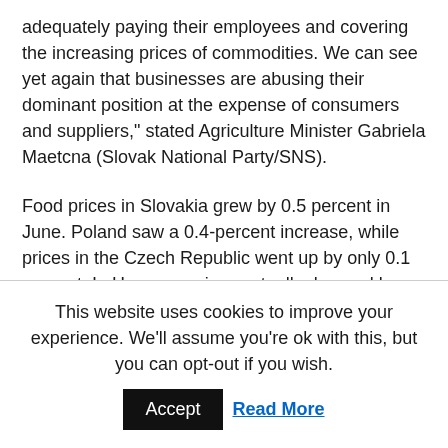adequately paying their employees and covering the increasing prices of commodities. We can see yet again that businesses are abusing their dominant position at the expense of consumers and suppliers," stated Agriculture Minister Gabriela Maetcna (Slovak National Party/SNS).
Food prices in Slovakia grew by 0.5 percent in June. Poland saw a 0.4-percent increase, while prices in the Czech Republic went up by only 0.1 percent. In Hungary, prices actually dropped by 0.2 percent.
“Price rises are taking place despite the fact that several chain stores announced a few months ago that they’d be freezing or
This website uses cookies to improve your experience. We'll assume you're ok with this, but you can opt-out if you wish.